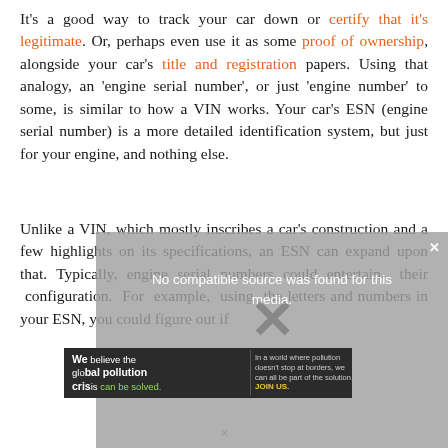It's a good way to track your car down or certify that it's legitimate. Or, perhaps even use it as some proof of ownership, alongside your car's title and registration papers. Using that analogy, an 'engine serial number', or just 'engine number' to some, is similar to how a VIN works. Your car's ESN (engine serial number) is a more detailed identification system, but just for your engine, and nothing else.
Unlike a VIN, which mostly inscribes a car's construction and a few highlights on its specifications, an ESN can expand upon that. Typically, engine serial numbers could entertain their configuration. For example, using the letters and numbers in your ESN, you could figure out if
[Figure (screenshot): Video overlay with 'No compatible source was found for this media.' message, a large X close button, and watermark text reading 'CHEVY ENGINE NUMBER LOOKUP HOW CAN I DECODE THEM?' below with a grey semi-transparent background.]
[Figure (infographic): Advertisement bar for Pure Earth: dark background with text 'We believe the global pollution crisis can be solved.' and 'In a world where pollution doesn't stop at borders, we can all be part of the solution. JOIN US.' alongside Pure Earth logo with yellow diamond icon.]